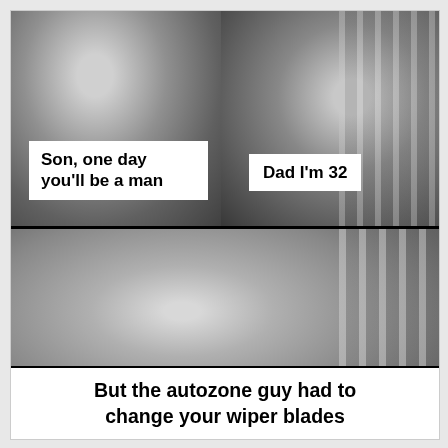[Figure (photo): Black and white photo of two men — an older man on the left and a younger bearded man on the right, both smiling, with a railing visible in the background.]
Son, one day you'll be a man
Dad I'm 32
[Figure (photo): Black and white close-up of the older man smiling, with railing visible in the background.]
But the autozone guy had to change your wiper blades